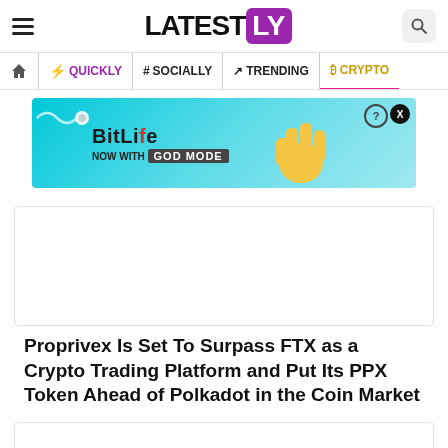LATELY (logo)
Home | QUICKLY | # SOCIALLY | TRENDING | CRYPTO
[Figure (photo): BitLife 'Now With GOD MODE' advertisement banner with cyan/blue background and cartoon hand pointing]
[Figure (photo): Empty image placeholder box]
Proprivex Is Set To Surpass FTX as a Crypto Trading Platform and Put Its PPX Token Ahead of Polkadot in the Coin Market
[Figure (photo): Empty image placeholder box at bottom]